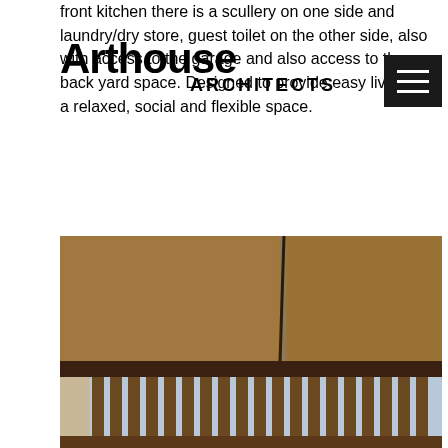Arthouse ARCHITECTS
front kitchen there is a scullery on one side and laundry/dry store, guest toilet on the other side, also with access to the garage and also access to the back yard space. Designed to provide easy living in a relaxed, social and flexible space.
[Figure (photo): Architectural interior/exterior photo showing a timber pergola or roof structure with slats, wooden ceiling panels in warm brown tones, and glimpses of blue sky through the gaps between the timber beams.]